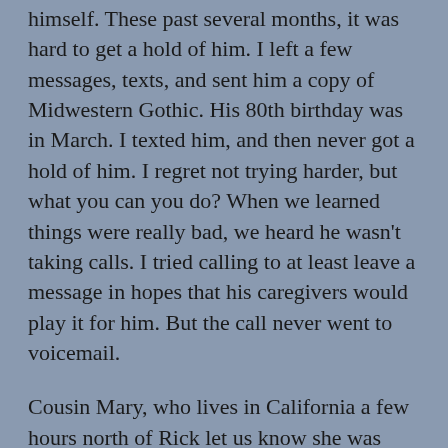himself. These past several months, it was hard to get a hold of him. I left a few messages, texts, and sent him a copy of Midwestern Gothic. His 80th birthday was in March. I texted him, and then never got a hold of him. I regret not trying harder, but what you can you do? When we learned things were really bad, we heard he wasn't taking calls. I tried calling to at least leave a message in hopes that his caregivers would play it for him. But the call never went to voicemail.
Cousin Mary, who lives in California a few hours north of Rick let us know she was driving down and would read any messages we emailed her. Several of us sent messages in his last